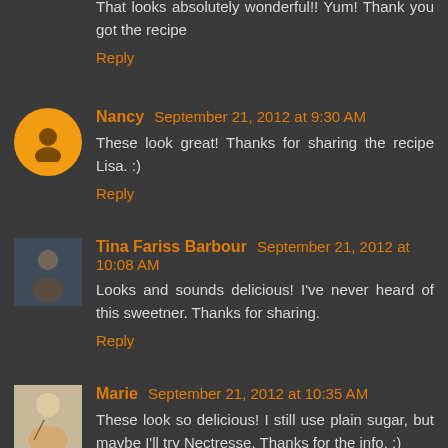That looks absolutely wonderful!! Yum! Thank you got the recipe
Reply
Nancy  September 21, 2012 at 9:30 AM
These look great! Thanks for sharing the recipe Lisa. :)
Reply
Tina Fariss Barbour  September 21, 2012 at 10:08 AM
Looks and sounds delicious! I've never heard of this sweetner. Thanks for sharing.
Reply
Marie  September 21, 2012 at 10:35 AM
These look so delicious! I still use plain sugar, but maybe I'll try Nectresse. Thanks for the info. :)
Reply